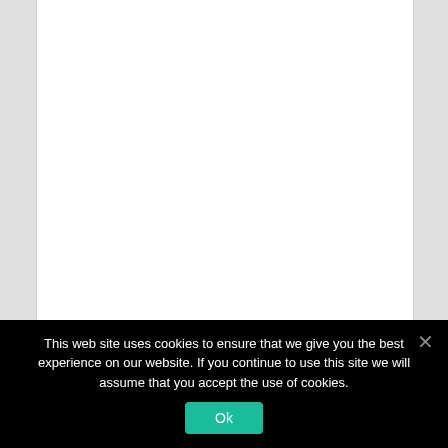[Figure (screenshot): White document page area on gray background, content area is blank/empty white space]
This web site uses cookies to ensure that we give you the best experience on our website. If you continue to use this site we will assume that you accept the use of cookies.
Ok